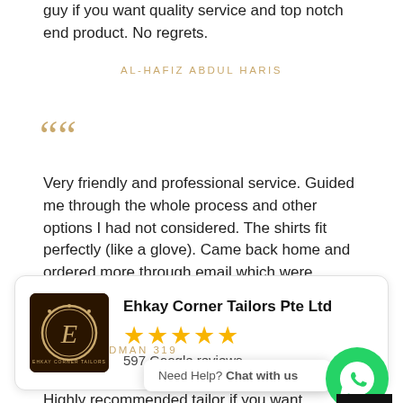guy if you want quality service and top notch end product. No regrets.
AL-HAFIZ ABDUL HARIS
““
Very friendly and professional service. Guided me through the whole process and other options I had not considered. The shirts fit perfectly (like a glove). Came back home and ordered more through email which were shipped out in fairly quick time. Hig
DMAN 319
[Figure (logo): Ehkay Corner Tailors Pte Ltd logo - golden ornate letter E on dark background]
Ehkay Corner Tailors Pte Ltd
★★★★★ 597 Google reviews
Need Help? Chat with us
Highly recommended tailor if you want